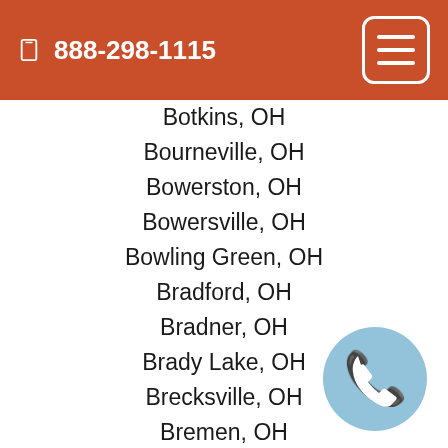888-298-1115
Botkins, OH
Bourneville, OH
Bowerston, OH
Bowersville, OH
Bowling Green, OH
Bradford, OH
Bradner, OH
Brady Lake, OH
Brecksville, OH
Bremen, OH
Brewster, OH
Brice, OH
Bridgeport, OH
Brilliant, OH
Brinkhaven, OH
Bristolville, OH
Broadview Heights, OH
Broadway, OH
[Figure (illustration): Blue circle with white telephone handset icon]